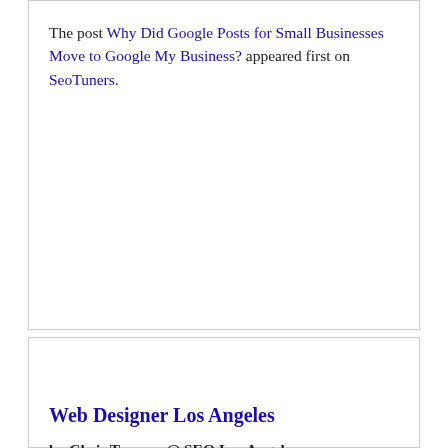The post Why Did Google Posts for Small Businesses Move to Google My Business? appeared first on SeoTuners.
Web Designer Los Angeles
by Chris Toomey @ SEO Los Angeles
Fri Nov 18 11:08:08 PST 2016